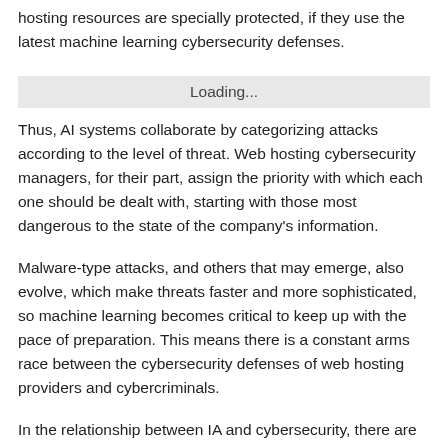hosting resources are specially protected, if they use the latest machine learning cybersecurity defenses.
[Figure (other): Loading... placeholder bar]
Thus, AI systems collaborate by categorizing attacks according to the level of threat. Web hosting cybersecurity managers, for their part, assign the priority with which each one should be dealt with, starting with those most dangerous to the state of the company's information.
Malware-type attacks, and others that may emerge, also evolve, which make threats faster and more sophisticated, so machine learning becomes critical to keep up with the pace of preparation. This means there is a constant arms race between the cybersecurity defenses of web hosting providers and cybercriminals.
In the relationship between IA and cybersecurity, there are two